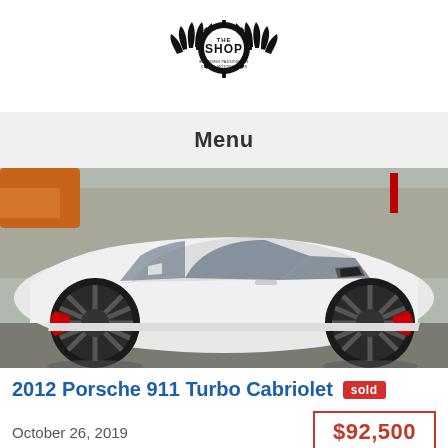[Figure (logo): The Shop logo - gear/cog badge with wings and text 'THE SHOP' and 'BREEDING PASSION FOR CARS & MOTORCYCLES']
Menu
[Figure (photo): Side profile photo of a white Porsche 911 Turbo Cabriolet with black/dark multi-spoke wheels and red brake calipers, photographed outdoors]
2012 Porsche 911 Turbo Cabriolet  sold
October 26, 2019
$92,500